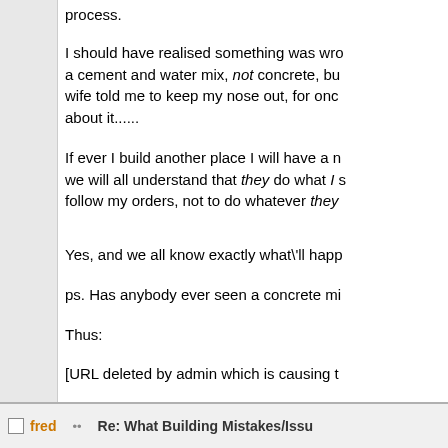process.
I should have realised something was wrong when he used a cement and water mix, not concrete, but my wife told me to keep my nose out, for once I shut up about it......
If ever I build another place I will have a meeting where we will all understand that they do what I say, follow my orders, not to do whatever they
Yes, and we all know exactly what'll happ
ps. Has anybody ever seen a concrete mi
Thus:
[URL deleted by admin which is causing t
In the UK you can rent one for about £15
fred   Re: What Building Mistakes/Issu